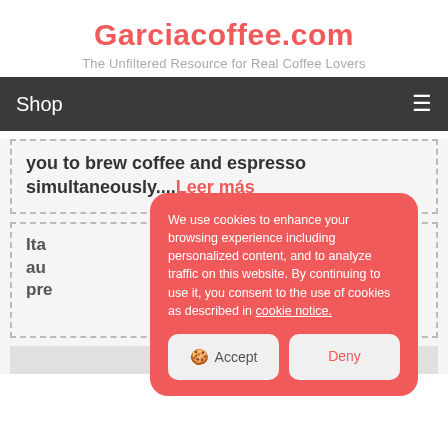Garciacoffee.com
The Unfiltered Resource for Real Coffee Lovers
Shop
you to brew coffee and espresso simultaneously....Leer más
Ita... au... pre...
[Figure (screenshot): Cookie consent overlay with Accept and Deny buttons on a red background]
We use cookies to enhance your browsing experience including personalized content, and to analyze traffic on this website. By continuing to use it, you consent to the use of cookies as described in cookie notice.